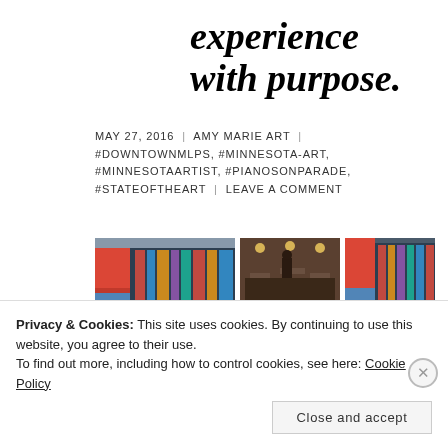experience with purpose.
MAY 27, 2016 | AMY MARIE ART | #DOWNTOWNMLPS, #MINNESOTA-ART, #MINNESOTAARTIST, #PIANOSONPARADE, #STATEOFTHEART | LEAVE A COMMENT
[Figure (photo): Four photos of a colorfully painted piano art piece — large left view, top-right restaurant/studio view, bottom-right full piano view, far-right close-up side view]
Privacy & Cookies: This site uses cookies. By continuing to use this website, you agree to their use.
To find out more, including how to control cookies, see here: Cookie Policy
Close and accept